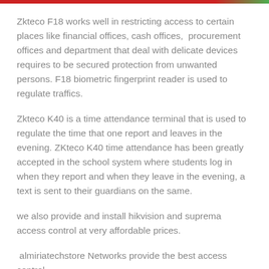Zkteco F18 works well in restricting access to certain places like financial offices, cash offices,  procurement offices and department that deal with delicate devices requires to be secured protection from unwanted persons. F18 biometric fingerprint reader is used to regulate traffics.
Zkteco K40 is a time attendance terminal that is used to regulate the time that one report and leaves in the evening. ZKteco K40 time attendance has been greatly accepted in the school system where students log in when they report and when they leave in the evening, a text is sent to their guardians on the same.
we also provide and install hikvision and suprema access control at very affordable prices.
almiriatechstore Networks provide the best access control